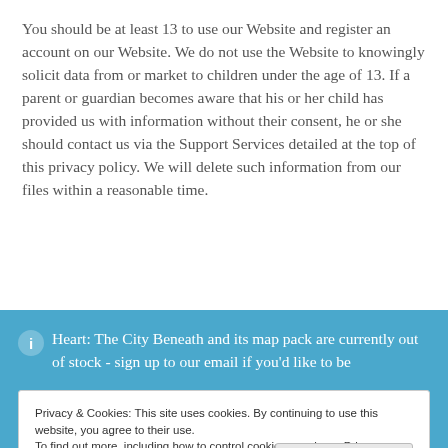You should be at least 13 to use our Website and register an account on our Website. We do not use the Website to knowingly solicit data from or market to children under the age of 13. If a parent or guardian becomes aware that his or her child has provided us with information without their consent, he or she should contact us via the Support Services detailed at the top of this privacy policy. We will delete such information from our files within a reasonable time.
Heart: The City Beneath and its map pack are currently out of stock - sign up to our email if you'd like to be
Privacy & Cookies: This site uses cookies. By continuing to use this website, you agree to their use.
To find out more, including how to control cookies, see here: Privacy Policy
Close and accept